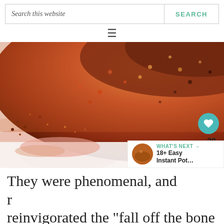Search this website | SEARCH
[Figure (photo): Close-up photo of a rack of ribs coated in a red-orange dry rub spice mixture on a white surface, with spice granules scattered around]
They were phenomenal, and reinvigorated the “fall off the bone
WHAT'S NEXT → 18+ Easy Instant Pot...